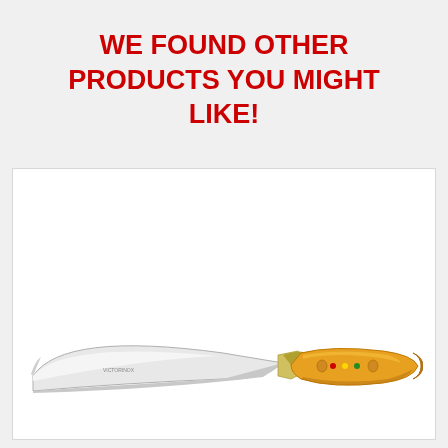WE FOUND OTHER PRODUCTS YOU MIGHT LIKE!
[Figure (photo): A butcher's skinning knife with a curved silver blade and yellow/orange ergonomic handle, shown on a white background inside a product card.]